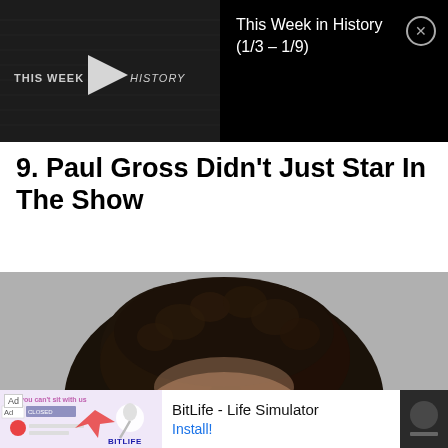[Figure (screenshot): Video thumbnail showing 'This Week in History' text with a play button, dark background with faint newspaper imagery]
This Week in History (1/3 – 1/9)
9. Paul Gross Didn't Just Star In The Show
[Figure (photo): Close-up photo of the top of a person's head with dark curly hair against a grey background]
Ad  BitLife - Life Simulator  Install!